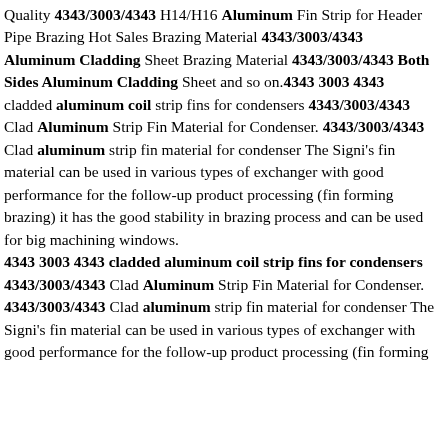Quality 4343/3003/4343 H14/H16 Aluminum Fin Strip for Header Pipe Brazing Hot Sales Brazing Material 4343/3003/4343 Aluminum Cladding Sheet Brazing Material 4343/3003/4343 Both Sides Aluminum Cladding Sheet and so on.4343 3003 4343 cladded aluminum coil strip fins for condensers 4343/3003/4343 Clad Aluminum Strip Fin Material for Condenser. 4343/3003/4343 Clad aluminum strip fin material for condenser The Signi's fin material can be used in various types of exchanger with good performance for the follow-up product processing (fin forming brazing) it has the good stability in brazing process and can be used for big machining windows. 4343 3003 4343 cladded aluminum coil strip fins for condensers 4343/3003/4343 Clad Aluminum Strip Fin Material for Condenser. 4343/3003/4343 Clad aluminum strip fin material for condenser The Signi's fin material can be used in various types of exchanger with good performance for the follow-up product processing (fin forming